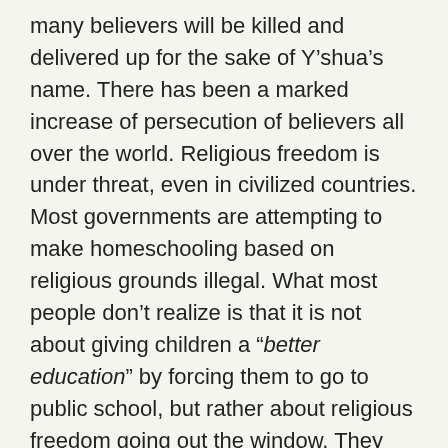many believers will be killed and delivered up for the sake of Y’shua’s name. There has been a marked increase of persecution of believers all over the world. Religious freedom is under threat, even in civilized countries. Most governments are attempting to make homeschooling based on religious grounds illegal. What most people don’t realize is that it is not about giving children a “better education” by forcing them to go to public school, but rather about religious freedom going out the window. They are doing the groundwork for later.
Believers will be delivered up by their “friends” and neighbors. Hate will abound, especially for those who are not part of the system. False prophets will deceive many and lawlessness will increase and most people’s love will grow cold. Apostasy will mark the beginning